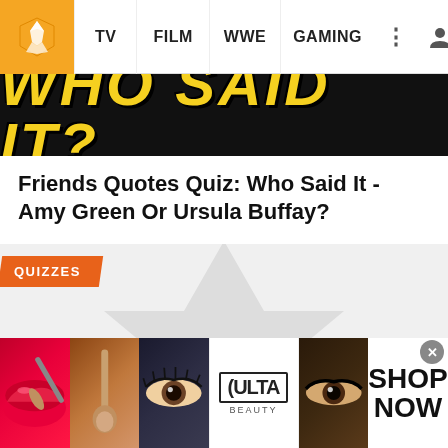TV | FILM | WWE | GAMING
[Figure (screenshot): WhatCulture website navigation bar with logo (orange star/bookmark shape), nav items: TV, FILM, WWE, GAMING, and icons for more options and user account]
[Figure (photo): Black banner with yellow bold italic text reading WHO SAID IT?]
Friends Quotes Quiz: Who Said It - Amy Green Or Ursula Buffay?
[Figure (logo): WhatCulture.com watermark logo in grey on light grey placeholder background with faint star/bookmark shape]
QUIZZES
[Figure (photo): Advertisement banner strip at bottom showing beauty/makeup images and ULTA BEAUTY logo with SHOP NOW text]